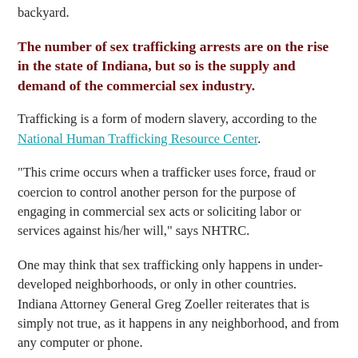backyard.
The number of sex trafficking arrests are on the rise in the state of Indiana, but so is the supply and demand of the commercial sex industry.
Trafficking is a form of modern slavery, according to the National Human Trafficking Resource Center.
“This crime occurs when a trafficker uses force, fraud or coercion to control another person for the purpose of engaging in commercial sex acts or soliciting labor or services against his/her will,” says NHTRC.
One may think that sex trafficking only happens in under-developed neighborhoods, or only in other countries.  Indiana Attorney General Greg Zoeller reiterates that is simply not true, as it happens in any neighborhood, and from any computer or phone.